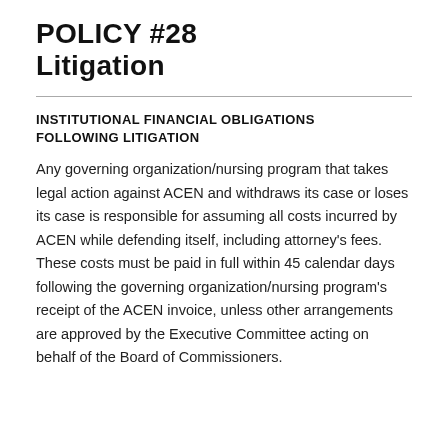POLICY #28
Litigation
INSTITUTIONAL FINANCIAL OBLIGATIONS FOLLOWING LITIGATION
Any governing organization/nursing program that takes legal action against ACEN and withdraws its case or loses its case is responsible for assuming all costs incurred by ACEN while defending itself, including attorney’s fees. These costs must be paid in full within 45 calendar days following the governing organization/nursing program’s receipt of the ACEN invoice, unless other arrangements are approved by the Executive Committee acting on behalf of the Board of Commissioners.